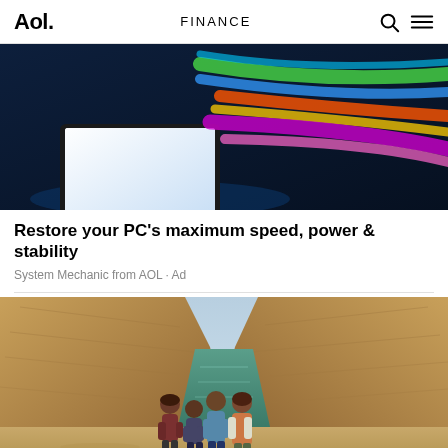Aol. FINANCE
[Figure (photo): Laptop computer with colorful neon light streaks on dark blue background]
Restore your PC's maximum speed, power & stability
System Mechanic from AOL · Ad
[Figure (photo): Family of four standing on a beach between large sandstone rock cliffs, ocean water behind them]